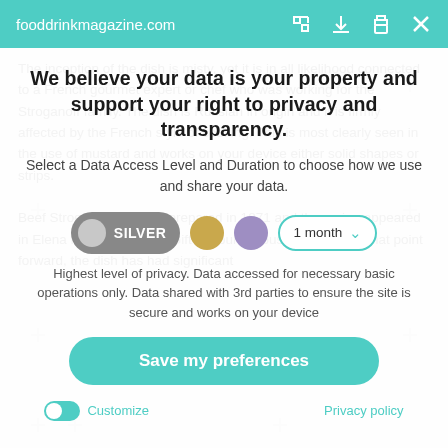fooddrinkmagazine.com
We believe your data is your property and support your right to privacy and transparency.
Select a Data Access Level and Duration to choose how we use and share your data.
SILVER | 1 month dropdown | gold dot | purple dot
Highest level of privacy. Data accessed for necessary basic operations only. Data shared with 3rd parties to ensure the site is secure and works on your device
Save my preferences
Customize | Privacy policy